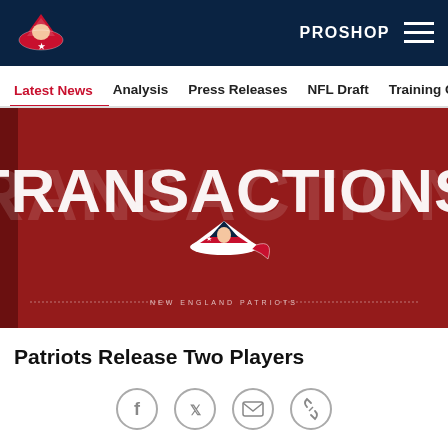PROSHOP
Latest News | Analysis | Press Releases | NFL Draft | Training Camp
[Figure (illustration): Dark red/maroon background image with large white bold text reading TRANSACTIONS and New England Patriots logo (tricorn hat) below it, with 'NEW ENGLAND PATRIOTS' text at the bottom]
Patriots Release Two Players